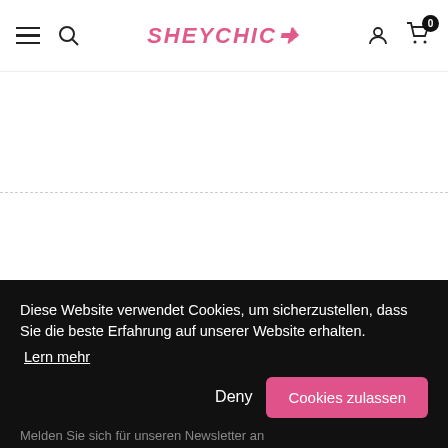SHEYCHIC — navigation header with hamburger, search, logo, account, cart
EINKAUFSFÜHRER
KUNDENDIENST
Diese Website verwendet Cookies, um sicherzustellen, dass Sie die beste Erfahrung auf unserer Website erhalten.
Lern mehr
Deny
Cookies zulassen
Melden Sie sich für unseren Newsletter an